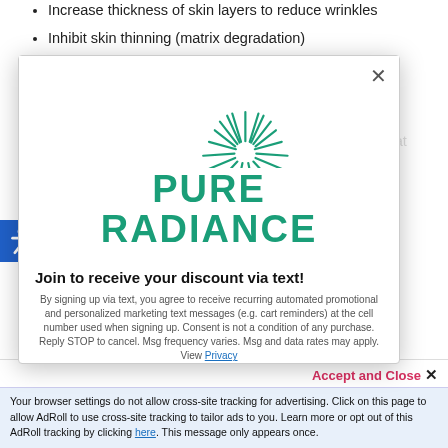Increase thickness of skin layers to reduce wrinkles
Inhibit skin thinning (matrix degradation)
Stimulate wound healing
And as you age, your supply of growth factors drops dramatically. We used to think th... m... m...
[Figure (logo): Pure Radiance brand logo with sunburst graphic and text PURE RADIANCE in teal/green]
Join to receive your discount via text!
By signing up via text, you agree to receive recurring automated promotional and personalized marketing text messages (e.g. cart reminders) at the cell number used when signing up. Consent is not a condition of any purchase. Reply STOP to cancel. Msg frequency varies. Msg and data rates may apply. View Privacy
Accept and Close ✕
Your browser settings do not allow cross-site tracking for advertising. Click on this page to allow AdRoll to use cross-site tracking to tailor ads to you. Learn more or opt out of this AdRoll tracking by clicking here. This message only appears once.